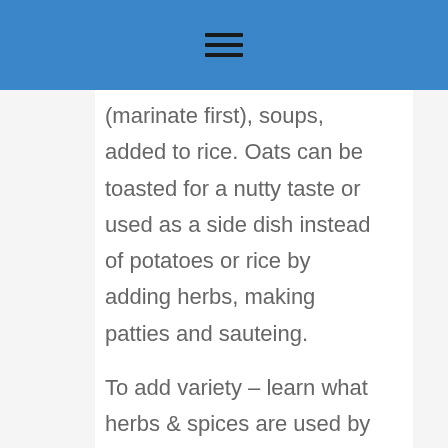☰
(marinate first), soups, added to rice. Oats can be toasted for a nutty taste or used as a side dish instead of potatoes or rice by adding herbs, making patties and sauteing.
To add variety – learn what herbs & spices are used by various cuisines: Italian, French, Chinese. By